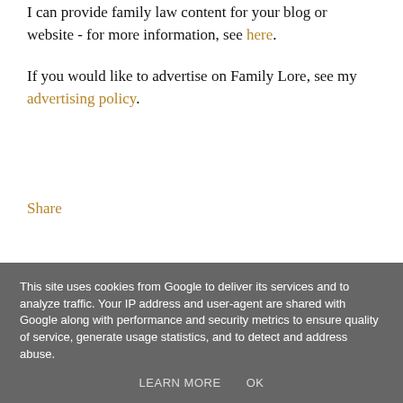I can provide family law content for your blog or website - for more information, see here.
If you would like to advertise on Family Lore, see my advertising policy.
Share
This site uses cookies from Google to deliver its services and to analyze traffic. Your IP address and user-agent are shared with Google along with performance and security metrics to ensure quality of service, generate usage statistics, and to detect and address abuse.
LEARN MORE   OK